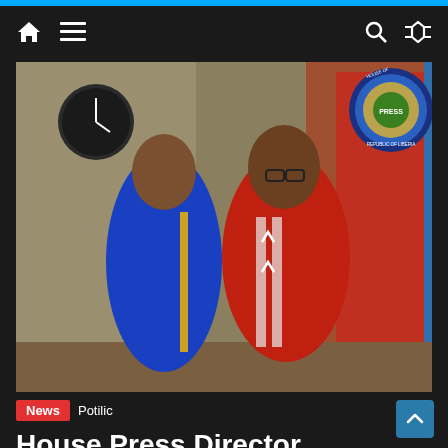Navigation bar with home, menu, search, and shuffle icons
[Figure (photo): Two men standing side by side indoors. The man on the left wears a blue traditional African outfit. The man on the right wears a red patterned traditional shirt and glasses. A circular press badge from the House of Representatives, Republic of Liberia is visible in the upper right corner of the photo.]
News  Potilic
House Press Director Reaffirms Commitment to Work with Press and…